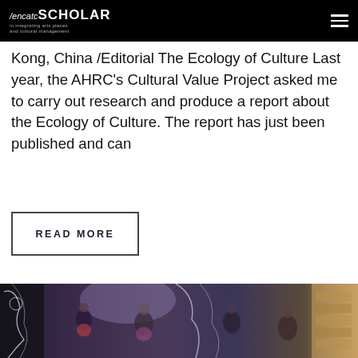/encatc SCHOLAR — in integrating arts places and cultural management
Kong, China /Editorial The Ecology of Culture Last year, the AHRC's Cultural Value Project asked me to carry out research and produce a report about the Ecology of Culture. The report has just been published and can
READ MORE
[Figure (photo): A group of young people at what appears to be an arts or music event, with decorative black and white illustrated murals/artwork visible on glass or walls around them. The scene appears to be indoors at a cultural venue.]